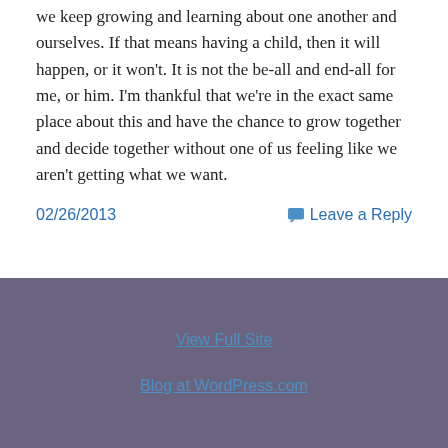we keep growing and learning about one another and ourselves. If that means having a child, then it will happen, or it won't. It is not the be-all and end-all for me, or him. I'm thankful that we're in the exact same place about this and have the chance to grow together and decide together without one of us feeling like we aren't getting what we want.
02/26/2013
Leave a Reply
View Full Site
Blog at WordPress.com